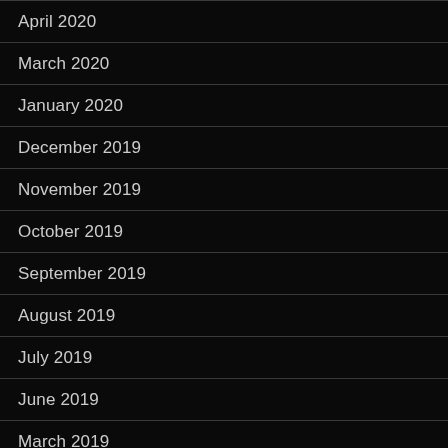April 2020
March 2020
January 2020
December 2019
November 2019
October 2019
September 2019
August 2019
July 2019
June 2019
March 2019
February 2019